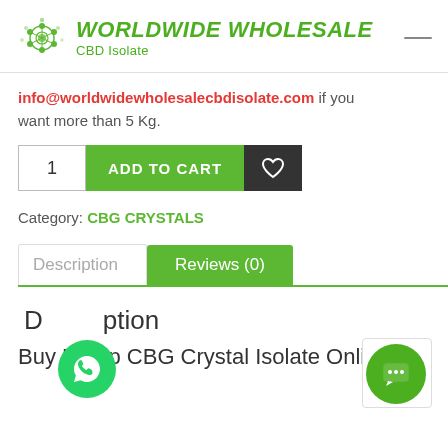WORLDWIDE WHOLESALE CBD Isolate
info@worldwidewholesalecbdisolate.com if you want more than 5 Kg.
[Figure (screenshot): Add to cart row with quantity box showing 1, green ADD TO CART button, and dark wishlist heart button]
Category: CBG CRYSTALS
[Figure (screenshot): Tab navigation with Description (inactive) and Reviews (0) (active green) tabs]
Description
Buy Hemp CBG Crystal Isolate Online